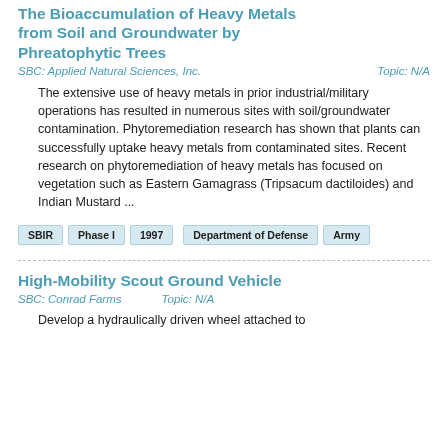The Bioaccumulation of Heavy Metals from Soil and Groundwater by Phreatophytic Trees
SBC: Applied Natural Sciences, Inc.    Topic: N/A
The extensive use of heavy metals in prior industrial/military operations has resulted in numerous sites with soil/groundwater contamination. Phytoremediation research has shown that plants can successfully uptake heavy metals from contaminated sites. Recent research on phytoremediation of heavy metals has focused on vegetation such as Eastern Gamagrass (Tripsacum dactiloides) and Indian Mustard ...
SBIR
Phase I
1997
Department of Defense
Army
High-Mobility Scout Ground Vehicle
SBC: Conrad Farms    Topic: N/A
Develop a hydraulically driven wheel attached to ...